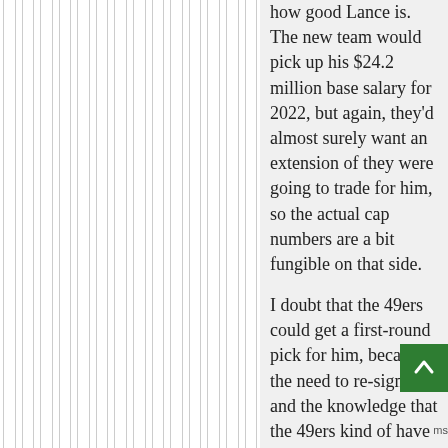how good Lance is. The new team would pick up his $24.2 million base salary for 2022, but again, they'd almost surely want an extension of they were going to trade for him, so the actual cap numbers are a bit fungible on that side.

I doubt that the 49ers could get a first-round pick for him, because the need to re-sign him and the knowledge that the 49ers kind of have to get rid of him